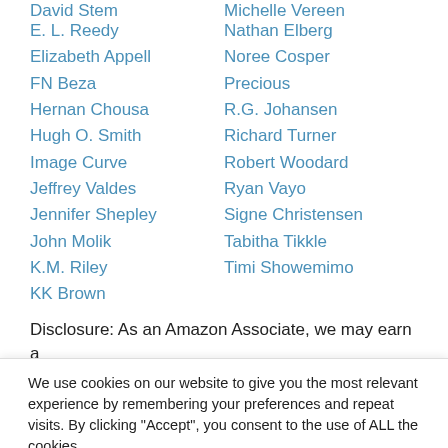David Stern
Michelle Vereen
E. L. Reedy
Nathan Elberg
Elizabeth Appell
Noree Cosper
FN Beza
Precious
Hernan Chousa
R.G. Johansen
Hugh O. Smith
Richard Turner
Image Curve
Robert Woodard
Jeffrey Valdes
Ryan Vayo
Jennifer Shepley
Signe Christensen
John Molik
Tabitha Tikkle
K.M. Riley
Timi Showemimo
KK Brown
Disclosure: As an Amazon Associate, we may earn a
We use cookies on our website to give you the most relevant experience by remembering your preferences and repeat visits. By clicking "Accept", you consent to the use of ALL the cookies.